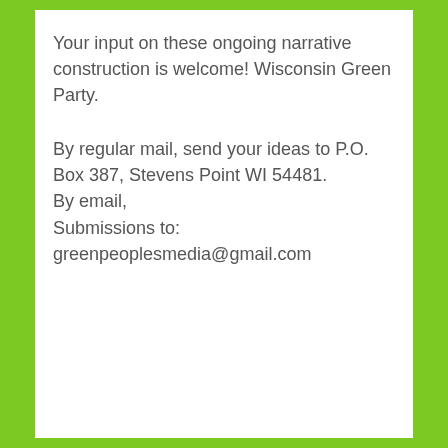Your input on these ongoing narrative construction is welcome! Wisconsin Green Party.
By regular mail, send your ideas to P.O. Box 387, Stevens Point WI 54481.
By email,
Submissions to:
greenpeoplesmedia@gmail.com